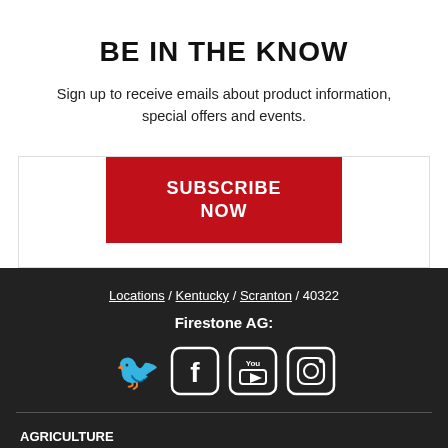BE IN THE KNOW
Sign up to receive emails about product information, special offers and events.
SUBSCRIBE NOW
Locations / Kentucky / Scranton / 40322
Firestone AG:
[Figure (infographic): Social media icons: Twitter, Facebook, YouTube, Instagram]
AGRICULTURE
Home
Tires & Tracks